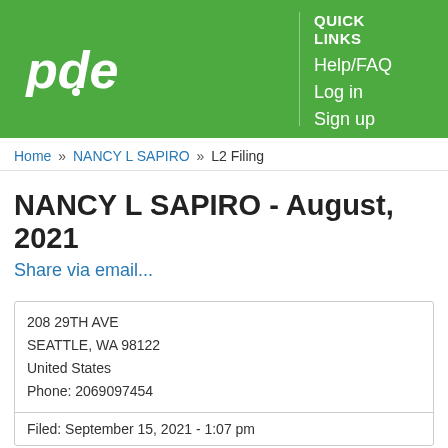[Figure (logo): PDC logo - white text 'pdc' with stylized design on green background]
QUICK LINKS
Help/FAQ
Log in
Sign up
Home » NANCY L SAPIRO » L2 Filing
NANCY L SAPIRO - August, 2021
Share via email...
208 29TH AVE
SEATTLE, WA 98122
United States
Phone: 2069097454
Filed: September 15, 2021 - 1:07 pm
Personal Expenses
Personal expenses reimbursed by employer,